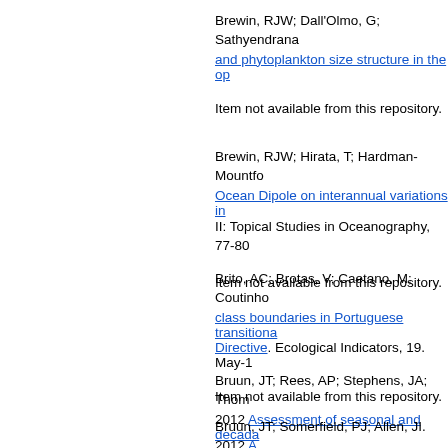Brewin, RJW; Dall'Olmo, G; Sathyendrana... and phytoplankton size structure in the op...
Item not available from this repository.
Brewin, RJW; Hirata, T; Hardman-Mountfo... Ocean Dipole on interannual variations in ... II: Topical Studies in Oceanography, 77-80
Item not available from this repository.
Brito, AC; Brotas, V; Caetano, M; Coutinho... class boundaries in Portuguese transitiona... Directive. Ecological Indicators, 19. May-1
Item not available from this repository.
Bruun, JT; Rees, AP; Stephens, JA; Thom... 2012 Assessment of seasonal and decada...
Item not available from this repository.
Bruun, JT; Somerfield, PJ; Allen, JI. 2012 A...